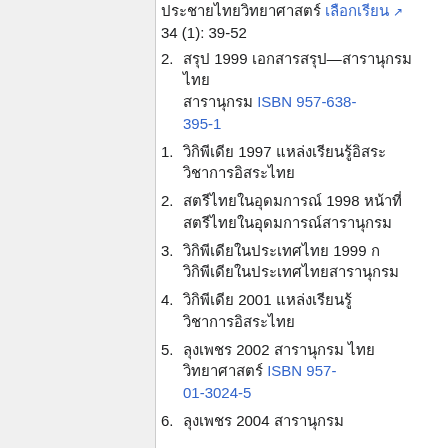34 (1): 39-52
000 1999 00000—000000000 00000 ISBN 957-638-395-1
0000000000 1997 000000000 000000000000000
00000000000000 1998 00000 00000000000000000000
000000000000000000 1999 0 000000000000000000000000
0000000000 2001 000000000 000000000000000
0000000 2002 000000000 000 0000000000000 ISBN 957-01-3024-5
0000000 2004 ...